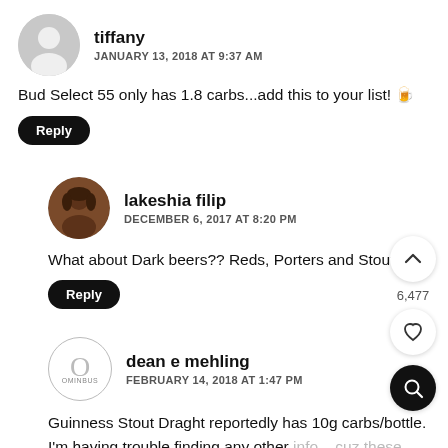tiffany — JANUARY 13, 2018 AT 9:37 AM
Bud Select 55 only has 1.8 carbs...add this to your list! 🍺
Reply
lakeshia filip — DECEMBER 6, 2017 AT 8:20 PM
What about Dark beers?? Reds, Porters and Stouts??
Reply
6,477
dean e mehling — FEBRUARY 14, 2018 AT 1:47 PM
Guinness Stout Draght reportedly has 10g carbs/bottle. I'm having trouble finding any other info... cuz these light colored beers just aren't real beer.